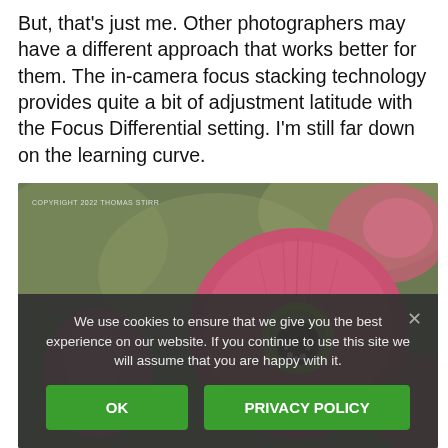But, that's just me. Other photographers may have a different approach that works better for them. The in-camera focus stacking technology provides quite a bit of adjustment latitude with the Focus Differential setting. I'm still far down on the learning curve.
[Figure (photo): Close-up macro photograph of pink/red flowers (likely Euphorbia or similar), with a central flower in sharp focus showing yellow-green center and dark stamen, set against a blurred olive-green background. Copyright watermark reads: COPYRIGHT 2022 THOMAS STIRR]
We use cookies to ensure that we give you the best experience on our website. If you continue to use this site we will assume that you are happy with it.